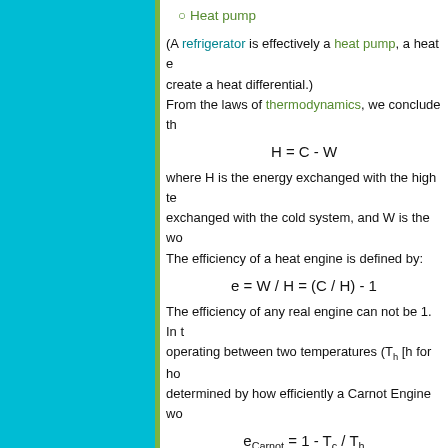Heat pump
(A refrigerator is effectively a heat pump, a heat e... create a heat differential.) From the laws of thermodynamics, we conclude th...
where H is the energy exchanged with the high te... exchanged with the cold system, and W is the wo... The efficiency of a heat engine is defined by:
The efficiency of any real engine can not be 1. In ... operating between two temperatures (T_h [h for ho... determined by how efficiently a Carnot Engine wo...
The reasoning behind the proof of this theorem re... first assumed that if a more efficient heat engine t... could be driven in reverse as a heat pump. Mathe... assumed combination would result in a net decrea... ever been found to the Laws of Thermodynamics,... concluded that it is not possible to build a heat en... engine.